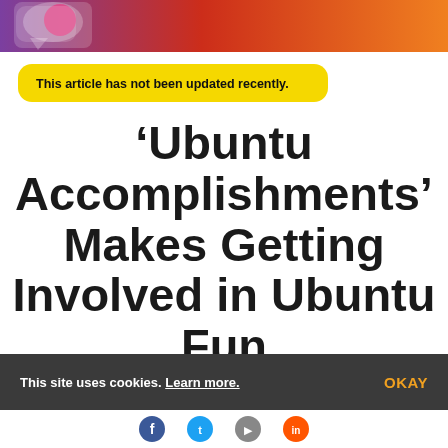[Figure (other): Website header banner with gradient background (purple to orange-red) and a logo/icon in the top-left corner]
This article has not been updated recently.
'Ubuntu Accomplishments' Makes Getting Involved in Ubuntu Fun
This site uses cookies. Learn more. OKAY
Social sharing icons row at the bottom